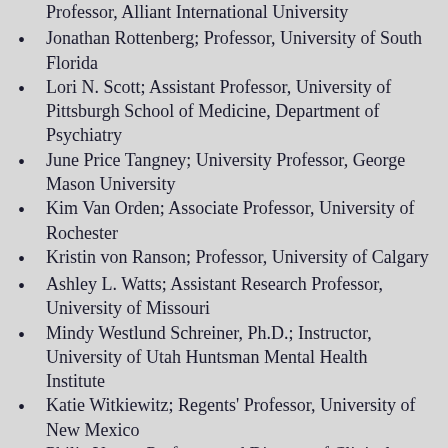Professor, Alliant International University
Jonathan Rottenberg; Professor, University of South Florida
Lori N. Scott; Assistant Professor, University of Pittsburgh School of Medicine, Department of Psychiatry
June Price Tangney; University Professor, George Mason University
Kim Van Orden; Associate Professor, University of Rochester
Kristin von Ranson; Professor, University of Calgary
Ashley L. Watts; Assistant Research Professor, University of Missouri
Mindy Westlund Schreiner, Ph.D.; Instructor, University of Utah Huntsman Mental Health Institute
Katie Witkiewitz; Regents' Professor, University of New Mexico
Philip Yanos; Professor and Director of Clinical Training, John Jay